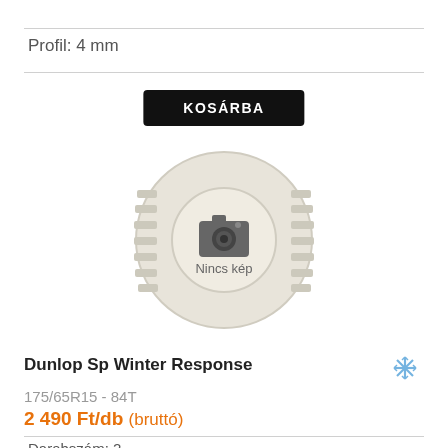Profil: 4 mm
KOSÁRBA
[Figure (illustration): Tire placeholder image with camera icon and text 'Nincs kép' (No image)]
Dunlop Sp Winter Response
175/65R15 - 84T
2 490 Ft/db (bruttó)
Darabszám: 2